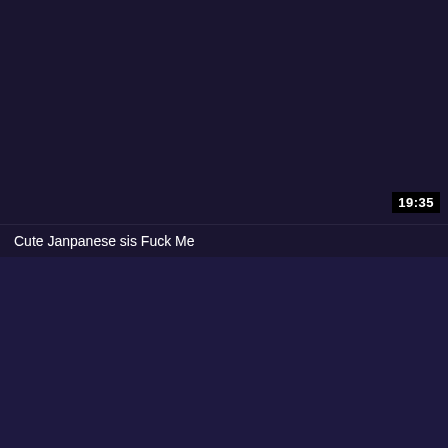[Figure (screenshot): Video thumbnail showing a dark navy/purple background with a timestamp overlay of 19:35 in the upper-right area, and a video title below the thumbnail divider.]
19:35
Cute Janpanese sis Fuck Me